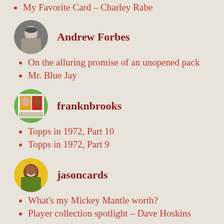My Favorite Card – Charley Rabe
[Figure (photo): Circular avatar photo of Andrew Forbes, black and white portrait]
Andrew Forbes
On the alluring promise of an unopened pack
Mr. Blue Jay
[Figure (photo): Circular avatar photo of franknbrooks, colorful baseball card image]
franknbrooks
Topps in 1972, Part 10
Topps in 1972, Part 9
[Figure (photo): Circular avatar photo of jasoncards, baseball card with yellow background]
jasoncards
What's my Mickey Mantle worth?
Player collection spotlight – Dave Hoskins